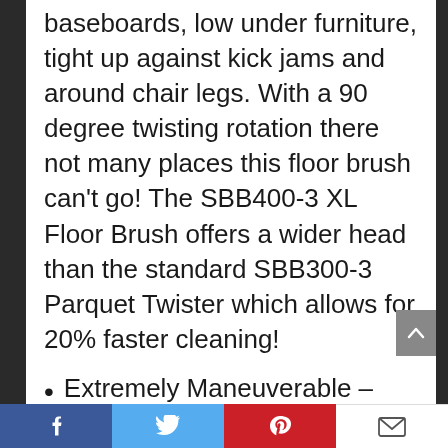baseboards, low under furniture, tight up against kick jams and around chair legs. With a 90 degree twisting rotation there not many places this floor brush can't go! The SBB400-3 XL Floor Brush offers a wider head than the standard SBB300-3 Parquet Twister which allows for 20% faster cleaning!
Extremely Maneuverable – Crush-Proof Ergonomic Hose – Stainless-Steel Telescopic Wands – Comes With Crevice Tool, Dusting Brush + Upholstery Tool
Social share bar: Facebook, Twitter, Pinterest, Email